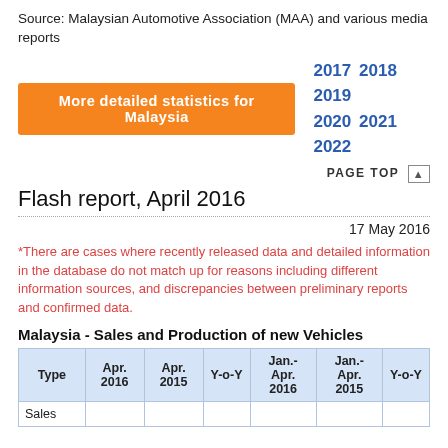Source: Malaysian Automotive Association (MAA) and various media reports
More detailed statistics for Malaysia   2017 2018 2019 2020 2021 2022
PAGE TOP ▲
Flash report, April 2016
17 May 2016
*There are cases where recently released data and detailed information in the database do not match up for reasons including different information sources, and discrepancies between preliminary reports and confirmed data.
Malaysia - Sales and Production of new Vehicles
| Type | Apr. 2016 | Apr. 2015 | Y-o-Y | Jan.-Apr. 2016 | Jan.-Apr. 2015 | Y-o-Y |
| --- | --- | --- | --- | --- | --- | --- |
| Sales |  |  |  |  |  |  |